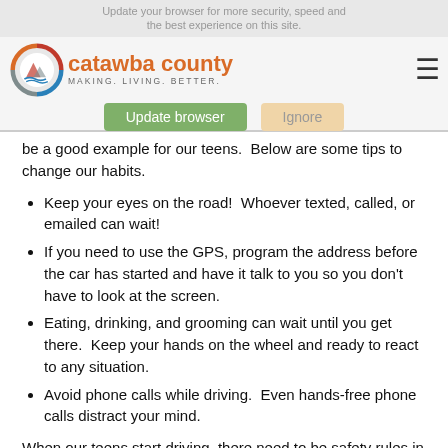Update your browser for more security, speed and the best experience on this site. [Catawba County logo] catawba county MAKING. LIVING. BETTER. [Update browser] [Ignore]
be a good example for our teens.  Below are some tips to change our habits.
Keep your eyes on the road!  Whoever texted, called, or emailed can wait!
If you need to use the GPS, program the address before the car has started and have it talk to you so you don't have to look at the screen.
Eating, drinking, and grooming can wait until you get there.  Keep your hands on the wheel and ready to react to any situation.
Avoid phone calls while driving.  Even hands-free phone calls distract your mind.
When our teens start driving, there need to be safety rules in place and enforced.  Keep in mind that we are putting inexperienced drivers in a large weapon if we don't teach them how to use it properly!